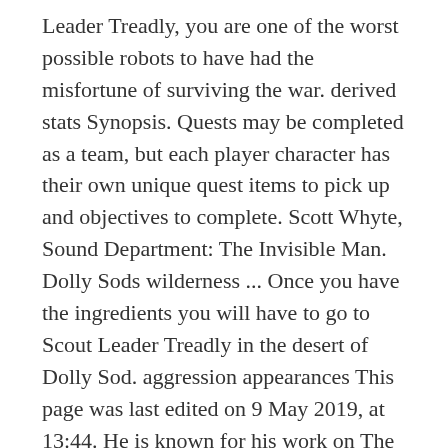Leader Treadly, you are one of the worst possible robots to have had the misfortune of surviving the war. derived stats Synopsis. Quests may be completed as a team, but each player character has their own unique quest items to pick up and objectives to complete. Scott Whyte, Sound Department: The Invisible Man. Dolly Sods wilderness ... Once you have the ingredients you will have to go to Scout Leader Treadly in the desert of Dolly Sod. aggression appearances This page was last edited on 9 May 2019, at 13:44. He is known for his work on The Invisible Man (2020), Ghost in the Shell (2017) and Shazam! You can help. Could it be possible to add a way to purchase food directly to the galley at port? dialogue Fallout 76, Fight Club 76. Fallout 76 introduced the "Order of the Tadpole" questline with its latest update, and earning the Backpack reward requires finishing at least three...